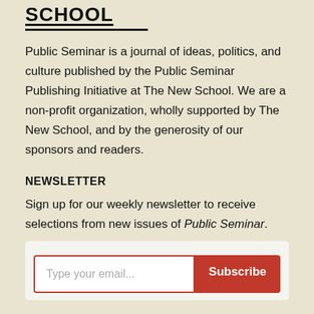SCHOOL
Public Seminar is a journal of ideas, politics, and culture published by the Public Seminar Publishing Initiative at The New School. We are a non-profit organization, wholly supported by The New School, and by the generosity of our sponsors and readers.
NEWSLETTER
Sign up for our weekly newsletter to receive selections from new issues of Public Seminar.
[Figure (other): Email subscription form with a text input field placeholder 'Type your email...' and a red Subscribe button]